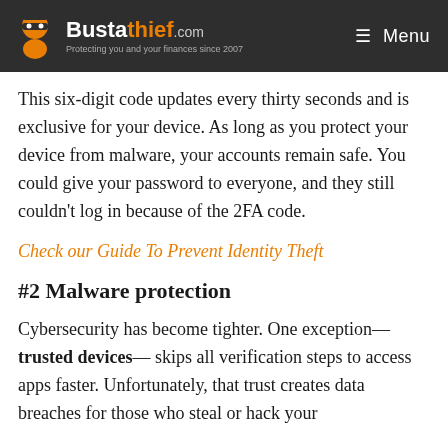Bustathief.com — Protecting you and your finances since 2007 | Menu
This six-digit code updates every thirty seconds and is exclusive for your device. As long as you protect your device from malware, your accounts remain safe. You could give your password to everyone, and they still couldn't log in because of the 2FA code.
Check our Guide To Prevent Identity Theft
#2 Malware protection
Cybersecurity has become tighter. One exception—trusted devices— skips all verification steps to access apps faster. Unfortunately, that trust creates data breaches for those who steal or hack your device.